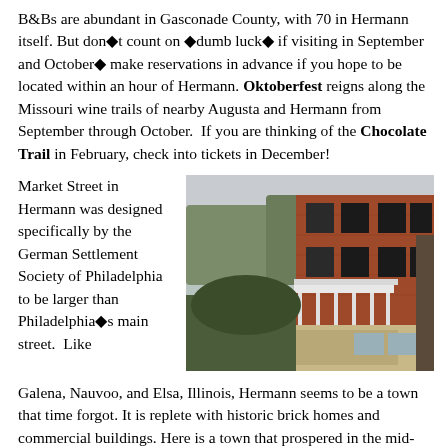B&Bs are abundant in Gasconade County, with 70 in Hermann itself. But don't count on 'dumb luck' if visiting in September and October — make reservations in advance if you hope to be located within an hour of Hermann. Oktoberfest reigns along the Missouri wine trails of nearby Augusta and Hermann from September through October. If you are thinking of the Chocolate Trail in February, check into tickets in December!
Market Street in Hermann was designed specifically by the German Settlement Society of Philadelphia to be larger than Philadelphia's main street. Like Galena, Nauvoo, and Elsa, Illinois, Hermann seems to be a town that time forgot. It is replete with historic brick homes and commercial buildings. Here is a town that prospered in the mid-19th century and then experienced an exodus after prohibition came early to the village. As steamboat travel on the Missouri River declined and continuing acrimony listed after the Civil War, the population reached a low.
[Figure (photo): A historic three-story brick building on Market Street in Hermann, Missouri, with white columned porches on the lower levels and green shutters on the upper windows.]